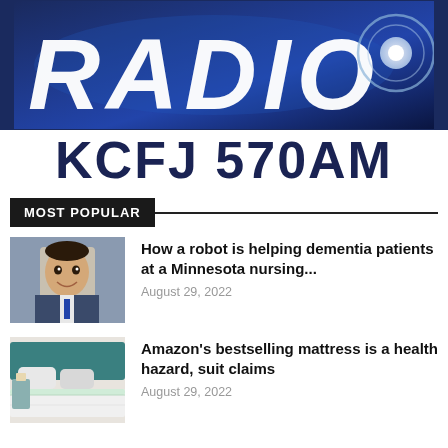[Figure (logo): RADIO KCFJ 570AM logo with dark blue background and circular graphic element]
KCFJ 570AM
MOST POPULAR
[Figure (photo): Headshot of a man in a suit smiling]
How a robot is helping dementia patients at a Minnesota nursing...
August 29, 2022
[Figure (photo): Photo of a white mattress on a bed with teal headboard]
Amazon's bestselling mattress is a health hazard, suit claims
August 29, 2022